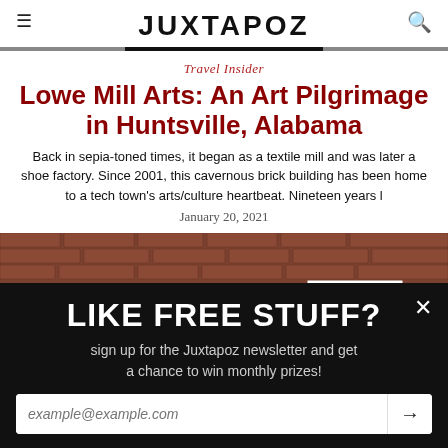JUXTAPOZ
Travel Insider
Lowe Mill Arts: An Art Pilgrimage in Huntsville, Alabama
Back in sepia-toned times, it began as a textile mill and was later a shoe factory. Since 2001, this cavernous brick building has been home to a tech town's arts/culture heartbeat. Nineteen years l
January 20, 2021
[Figure (photo): Colorful rainbow-patterned mural on windows of a red brick building — Lowe Mill Arts in Huntsville, Alabama]
LIKE FREE STUFF?
sign up for the Juxtapoz newsletter and get a chance to win monthly prizes!
example@example.com